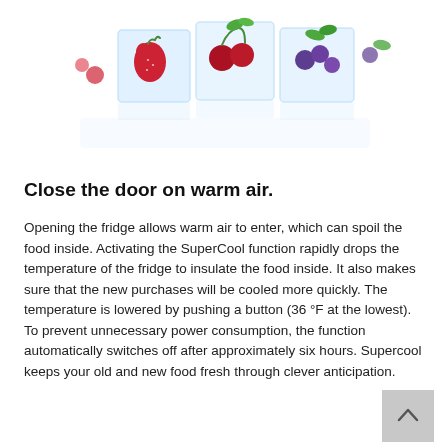[Figure (photo): Photograph of colorful fruits (strawberries, cherries, blueberries, mint leaves) frozen inside clear ice cubes, arranged on a white background.]
Close the door on warm air.
Opening the fridge allows warm air to enter, which can spoil the food inside. Activating the SuperCool function rapidly drops the temperature of the fridge to insulate the food inside. It also makes sure that the new purchases will be cooled more quickly. The temperature is lowered by pushing a button (36 °F at the lowest). To prevent unnecessary power consumption, the function automatically switches off after approximately six hours. Supercool keeps your old and new food fresh through clever anticipation.